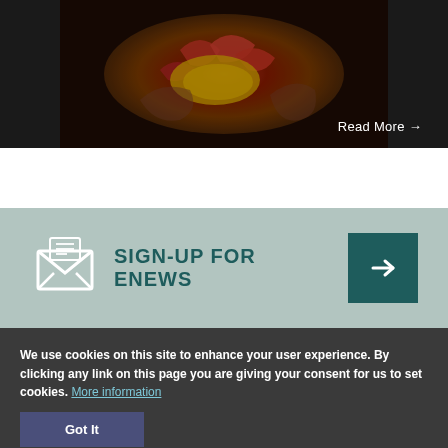[Figure (photo): Hands holding a food dish with crawfish and yellow rice, dark background]
Read More →
SIGN-UP FOR ENEWS →
We use cookies on this site to enhance your user experience. By clicking any link on this page you are giving your consent for us to set cookies. More information
Got It